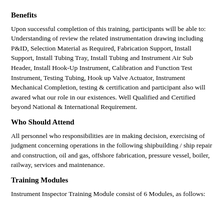Benefits
Upon successful completion of this training, participants will be able to: Understanding of review the related instrumentation drawing including P&ID, Selection Material as Required, Fabrication Support, Install Support, Install Tubing Tray, Install Tubing and Instrument Air Sub Header, Install Hook-Up Instrument, Calibration and Function Test Instrument, Testing Tubing, Hook up Valve Actuator, Instrument Mechanical Completion, testing & certification and participant also will awared what our role in our existences. Well Qualified and Certified beyond National & International Requirement.
Who Should Attend
All personnel who responsibilities are in making decision, exercising of judgment concerning operations in the following shipbuilding / ship repair and construction, oil and gas, offshore fabrication, pressure vessel, boiler, railway, services and maintenance.
Training Modules
Instrument Inspector Training Module consist of 6 Modules, as follows: